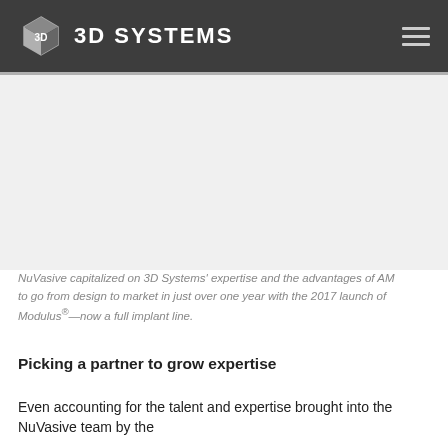3D SYSTEMS
[Figure (photo): Photo placeholder area showing a medical/industrial product image related to the NuVasive Modulus implant line]
NuVasive capitalized on 3D Systems' expertise and the advantages of AM to go from design to market in just over one year with the 2017 launch of Modulus®—now a full implant line.
Picking a partner to grow expertise
Even accounting for the talent and expertise brought into the NuVasive team by the